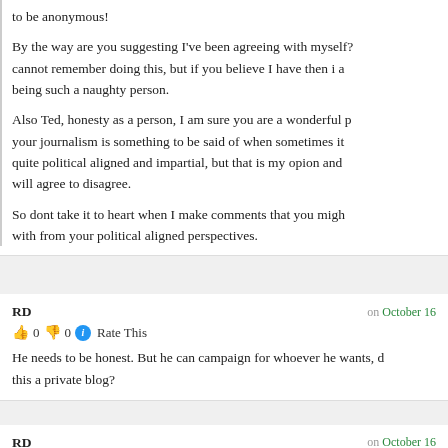to be anonymous!
By the way are you suggesting I've been agreeing with myself? I cannot remember doing this, but if you believe I have then i a being such a naughty person.
Also Ted, honesty as a person, I am sure you are a wonderful p your journalism is something to be said of when sometimes it quite political aligned and impartial, but that is my opion and will agree to disagree.
So dont take it to heart when I make comments that you migh with from your political aligned perspectives.
RD
on October 16
👍 0 👎 0 ℹ Rate This
He needs to be honest. But he can campaign for whoever he wants, d this a private blog?
RD
on October 16
👍 0 👎 0 ℹ Rate This